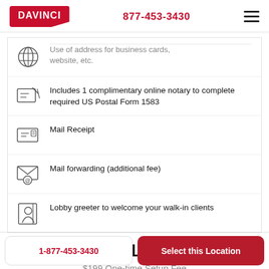DAVINCI   877-453-3430
Use of address for business cards, website, etc.
Includes 1 complimentary online notary to complete required US Postal Form 1583
Mail Receipt
Mail forwarding (additional fee)
Lobby greeter to welcome your walk-in clients
Promo: $19/mo USD
$199 One-time Setup Fee
1-877-453-3430
Select this Location